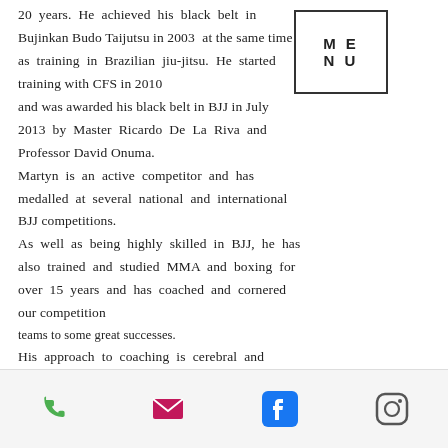20 years. He achieved his black belt in Bujinkan Budo Taijutsu in 2003 at the same time as training in Brazilian jiu-jitsu. He started training with CFS in 2010 and was awarded his black belt in BJJ in July 2013 by Master Ricardo De La Riva and Professor David Onuma. Martyn is an active competitor and has medalled at several national and international BJJ competitions. As well as being highly skilled in BJJ, he has also trained and studied MMA and boxing for over 15 years and has coached and cornered our competition teams to some great successes. His approach to coaching is cerebral and
phone, email, facebook, instagram icons